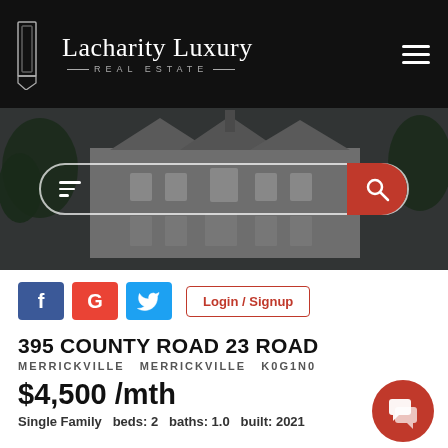[Figure (logo): Lacharity Luxury Real Estate logo with geometric icon on black background]
[Figure (photo): Dark hero image of a large luxury stone mansion with trees, overlaid with a search bar with filter icon and red search button]
[Figure (infographic): Social media login buttons: Facebook (blue f), Google (red G), Twitter (blue bird), and Login/Signup button]
395 COUNTY ROAD 23 ROAD
MERRICKVILLE  MERRICKVILLE  K0G1N0
$4,500 /mth
Single Family  beds: 2  baths: 1.0  built: 2021